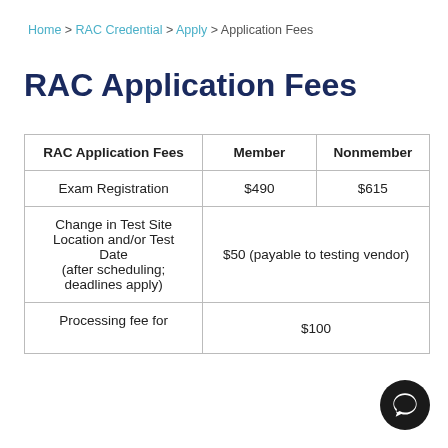Home > RAC Credential > Apply > Application Fees
RAC Application Fees
| RAC Application Fees | Member | Nonmember |
| --- | --- | --- |
| Exam Registration | $490 | $615 |
| Change in Test Site Location and/or Test Date (after scheduling; deadlines apply) | $50 (payable to testing vendor) |  |
| Processing fee for... |  | $100 |